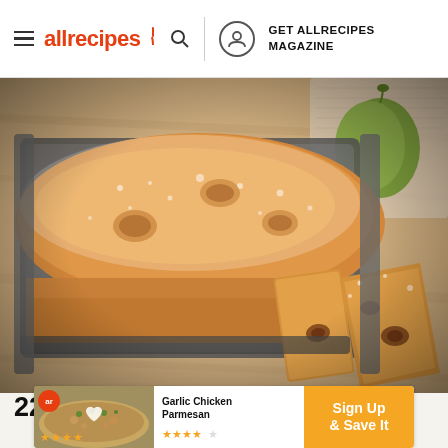allrecipes | GET ALLRECIPES MAGAZINE
[Figure (photo): A loaf of fig cake dusted with powdered sugar in a baking pan, with two slices cut showing figs baked inside, on a wooden surface with a fresh fig in the background]
22 Fresh Fig Recipes
[Figure (infographic): Advertisement banner for Garlic Chicken Parmesan with star rating, heart icon, 'Sign Up & Save It' call-to-action on orange background]